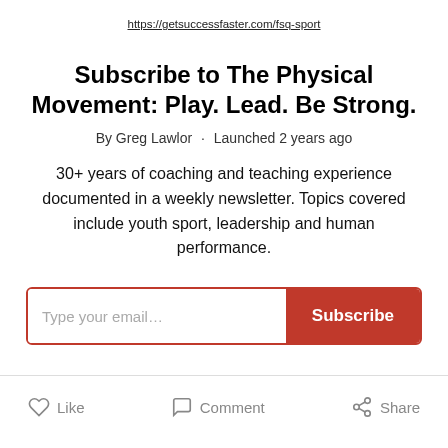https://getsuccessfaster.com/fsq-sport
Subscribe to The Physical Movement: Play. Lead. Be Strong.
By Greg Lawlor · Launched 2 years ago
30+ years of coaching and teaching experience documented in a weekly newsletter. Topics covered include youth sport, leadership and human performance.
Type your email... Subscribe
Like   Comment   Share